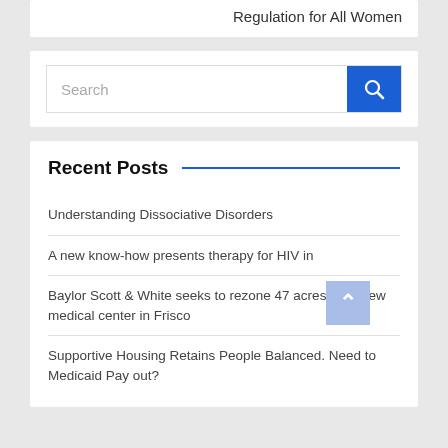Regulation for All Women
[Figure (screenshot): Search input box with blue search button containing a magnifying glass icon]
Recent Posts
Understanding Dissociative Disorders
A new know-how presents therapy for HIV in
Baylor Scott & White seeks to rezone 47 acres for a new medical center in Frisco
Supportive Housing Retains People Balanced. Need to Medicaid Pay out?